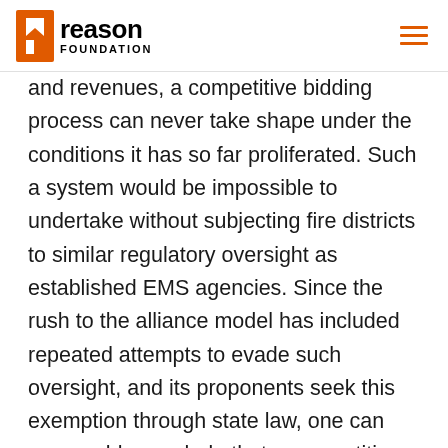Reason Foundation
and revenues, a competitive bidding process can never take shape under the conditions it has so far proliferated. Such a system would be impossible to undertake without subjecting fire districts to similar regulatory oversight as established EMS agencies. Since the rush to the alliance model has included repeated attempts to evade such oversight, and its proponents seek this exemption through state law, one can reasonably conclude that a competitive process is the last thing on the minds of many alliance model supporters. This is further confirmed by consultant reports that give questionable treatment to many of the more